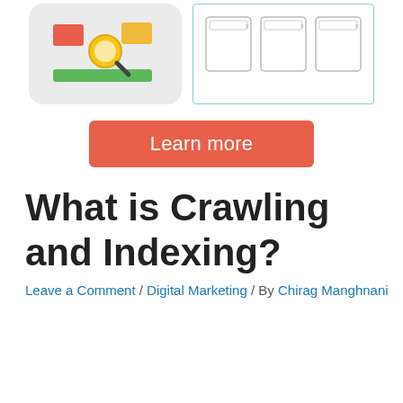[Figure (illustration): Left: illustration of a data analytics/SEO icon with red, orange, and green shapes and a magnifying glass on a light gray rounded rectangle background. Right: browser-style illustration showing three rectangles representing web browser windows on a white background with teal border.]
[Figure (illustration): A red/salmon rounded-rectangle button with white text reading 'Learn more']
What is Crawling and Indexing?
Leave a Comment / Digital Marketing / By Chirag Manghnani